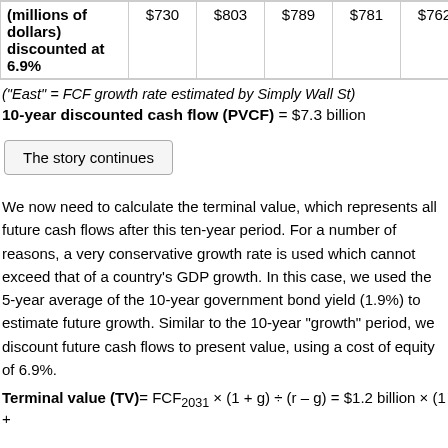| (millions of dollars) discounted at 6.9% |  |  |  |  |  |  |
| --- | --- | --- | --- | --- | --- | --- |
| $730 | $803 | $789 | $781 | $762 | $738 |
("East" = FCF growth rate estimated by Simply Wall St)
10-year discounted cash flow (PVCF) = $7.3 billion
The story continues
We now need to calculate the terminal value, which represents all future cash flows after this ten-year period. For a number of reasons, a very conservative growth rate is used which cannot exceed that of a country's GDP growth. In this case, we used the 5-year average of the 10-year government bond yield (1.9%) to estimate future growth. Similar to the 10-year "growth" period, we discount future cash flows to present value, using a cost of equity of 6.9%.